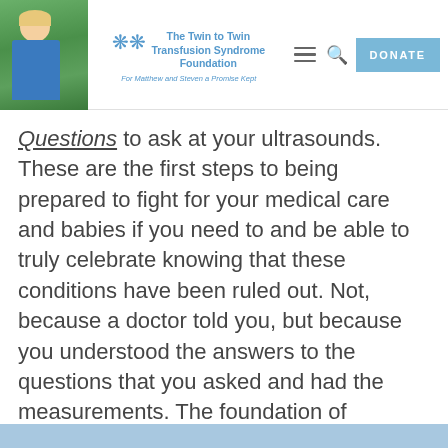The Twin to Twin Transfusion Syndrome Foundation — For Matthew and Steven a Promise Kept
Questions to ask at your ultrasounds. These are the first steps to being prepared to fight for your medical care and babies if you need to and be able to truly celebrate knowing that these conditions have been ruled out. Not, because a doctor told you, but because you understood the answers to the questions that you asked and had the measurements. The foundation of everything you need to know starts with the placenta.